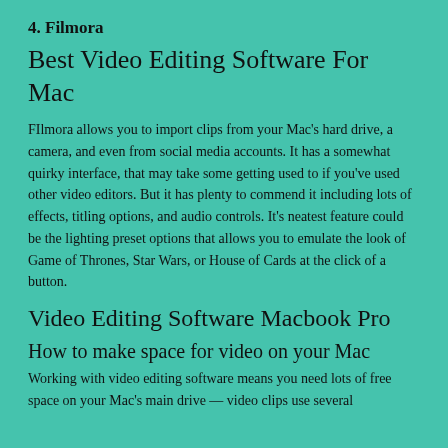4. Filmora
Best Video Editing Software For Mac
FIlmora allows you to import clips from your Mac's hard drive, a camera, and even from social media accounts. It has a somewhat quirky interface, that may take some getting used to if you've used other video editors. But it has plenty to commend it including lots of effects, titling options, and audio controls. It's neatest feature could be the lighting preset options that allows you to emulate the look of Game of Thrones, Star Wars, or House of Cards at the click of a button.
Video Editing Software Macbook Pro
How to make space for video on your Mac
Working with video editing software means you need lots of free space on your Mac's main drive — video clips use several